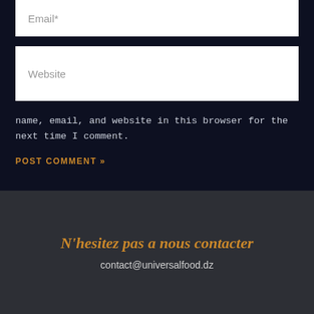Email*
Website
name, email, and website in this browser for the next time I comment.
POST COMMENT »
N'hesitez pas a nous contacter
contact@universalfood.dz